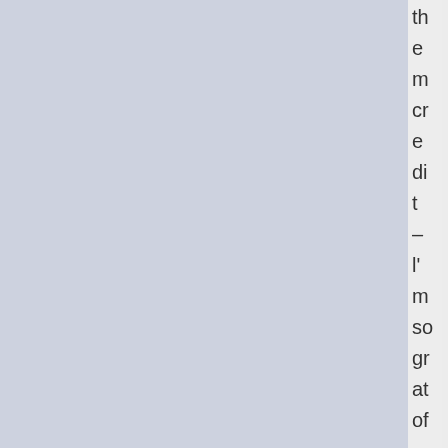[Figure (other): Two-panel background: left panel is a muted blue-grey color filling most of the page width, right panel is a light grey. On the right side, vertically arranged letter fragments spell out 'the m credit – l'm so gr at of' reading top to bottom.]
th e m cr e di t – l' m so gr at of